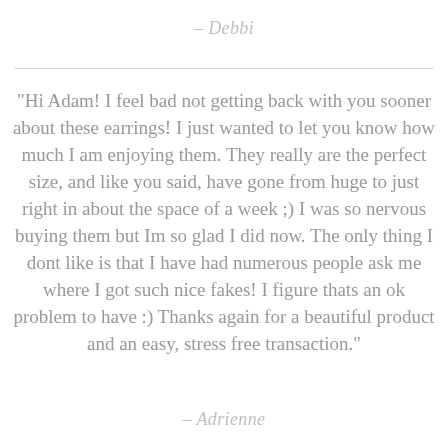– Debbi
"Hi Adam! I feel bad not getting back with you sooner about these earrings! I just wanted to let you know how much I am enjoying them. They really are the perfect size, and like you said, have gone from huge to just right in about the space of a week ;) I was so nervous buying them but Im so glad I did now. The only thing I dont like is that I have had numerous people ask me where I got such nice fakes! I figure thats an ok problem to have :) Thanks again for a beautiful product and an easy, stress free transaction."
– Adrienne